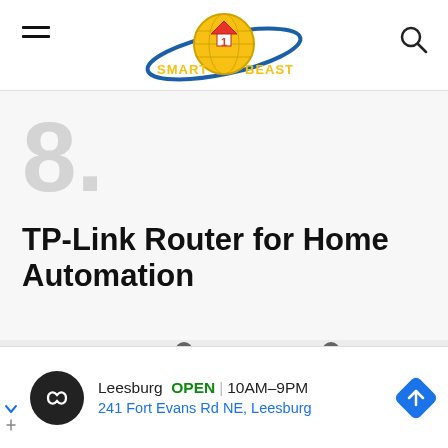Smart1Beast logo header with hamburger menu and search icon
8.
TP-Link Router for Home Automation
[Figure (photo): Router antennas visible at bottom of content area]
Leesburg OPEN | 10AM–9PM
241 Fort Evans Rd NE, Leesburg